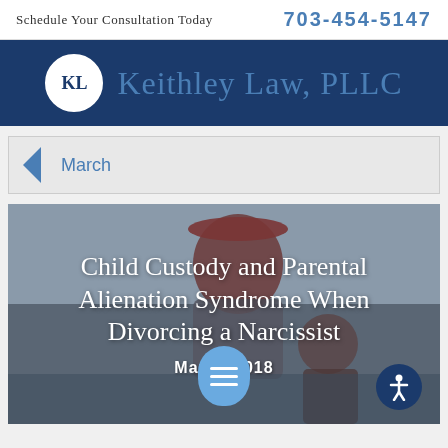Schedule Your Consultation Today  703-454-5147
[Figure (logo): Keithley Law, PLLC logo with KL initials in a circle on dark navy background]
< March
[Figure (photo): Photo of child/children from behind with overlaid article title text]
Child Custody and Parental Alienation Syndrome When Divorcing a Narcissist
Mar 2018